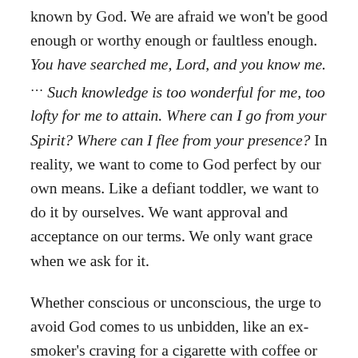known by God. We are afraid we won't be good enough or worthy enough or faultless enough. You have searched me, Lord, and you know me. ⁷ Such knowledge is too wonderful for me, too lofty for me to attain. Where can I go from your Spirit? Where can I flee from your presence? In reality, we want to come to God perfect by our own means. Like a defiant toddler, we want to do it by ourselves. We want approval and acceptance on our terms. We only want grace when we ask for it.
Whether conscious or unconscious, the urge to avoid God comes to us unbidden, like an ex-smoker's craving for a cigarette with coffee or the compulsion to watch just one more episode of our favorite series. When we